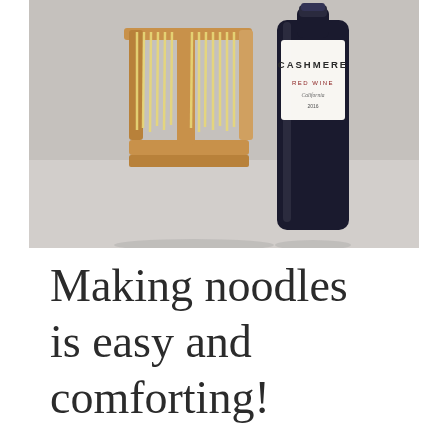[Figure (photo): A photo showing a wooden pasta drying rack with fresh yellow noodles hanging on it, next to a dark bottle of Cashmere Red Wine (California), placed on a light countertop surface.]
Making noodles is easy and comforting!